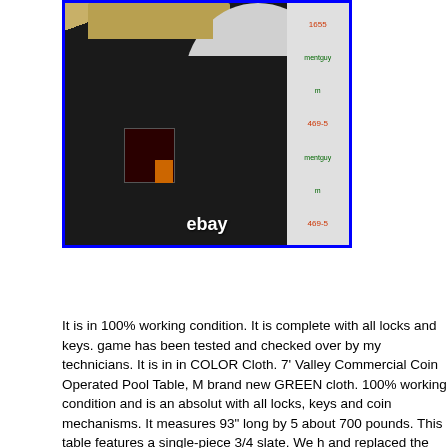[Figure (photo): Black arcade-style coin-operated pool table machine photographed against a backdrop with 'ebay' watermark text. The unit is tall and black with a curved white monitor housing on top, a coin mechanism panel on the front, and the word 'ebay' overlaid in white text at the bottom center.]
[Figure (screenshot): Button/link graphic reading 'More info on eBay' with a black border on a light gray/white background.]
It is in 100% working condition. It is complete with all locks and keys. game has been tested and checked over by my technicians. It is in in COLOR Cloth. 7' Valley Commercial Coin Operated Pool Table, M brand new GREEN cloth. 100% working condition and is an absolut with all locks, keys and coin mechanisms. It measures 93" long by 5 about 700 pounds. This table features a single-piece 3/4 slate. We h and replaced the pocket liners and gulley boots with new parts. The